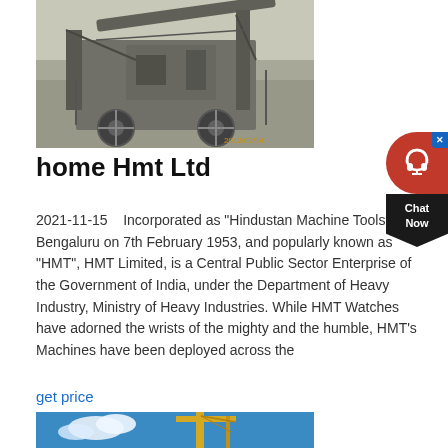[Figure (photo): Industrial machinery/crushing equipment at a quarry or construction site, with timestamp 2012/02/14]
home Hmt Ltd
2021-11-15    Incorporated as "Hindustan Machine Tools" at Bengaluru on 7th February 1953, and popularly known as "HMT", HMT Limited, is a Central Public Sector Enterprise of the Government of India, under the Department of Heavy Industry, Ministry of Heavy Industries. While HMT Watches have adorned the wrists of the mighty and the humble, HMT's Machines have been deployed across the
get price
[Figure (photo): Construction or industrial crane against blue sky]